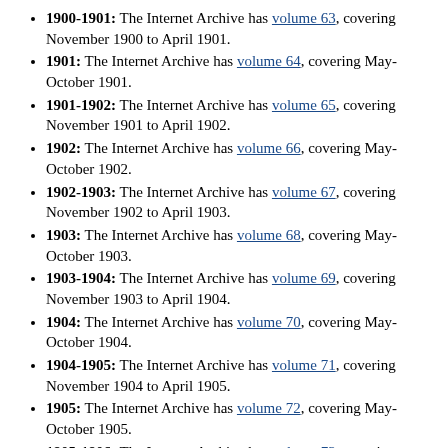1900-1901: The Internet Archive has volume 63, covering November 1900 to April 1901.
1901: The Internet Archive has volume 64, covering May-October 1901.
1901-1902: The Internet Archive has volume 65, covering November 1901 to April 1902.
1902: The Internet Archive has volume 66, covering May-October 1902.
1902-1903: The Internet Archive has volume 67, covering November 1902 to April 1903.
1903: The Internet Archive has volume 68, covering May-October 1903.
1903-1904: The Internet Archive has volume 69, covering November 1903 to April 1904.
1904: The Internet Archive has volume 70, covering May-October 1904.
1904-1905: The Internet Archive has volume 71, covering November 1904 to April 1905.
1905: The Internet Archive has volume 72, covering May-October 1905.
1905-1906: The Internet Archive has volume 73, covering November 1905 to April 1906.
1906: The Internet Archive has volume 74, covering May-October 1906.
1906-1907: The Internet Archive has volume 75, covering